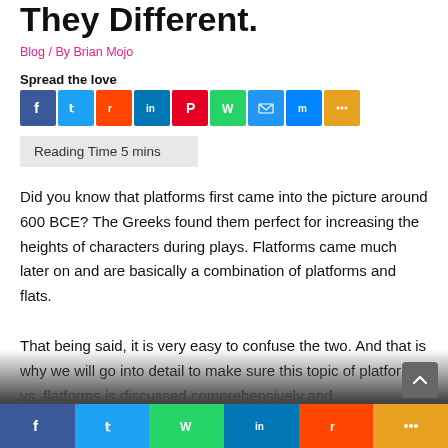They Different.
Blog / By Brian Mojo
Spread the love
[Figure (infographic): Social sharing buttons: Facebook, Twitter, Reddit, LinkedIn, Pinterest, WhatsApp, Email, Messenger, More]
Reading Time 5 mins
Did you know that platforms first came into the picture around 600 BCE? The Greeks found them perfect for increasing the heights of characters during plays. Flatforms came much later on and are basically a combination of platforms and flats.
That being said, it is very easy to confuse the two. And that is why we will go into detail to make sure this topic of platforms vs. flatforms is discussed comprehensively and
[Figure (infographic): Bottom navigation bar with social share icons: Facebook, Twitter, WhatsApp, LinkedIn, Reddit, More]